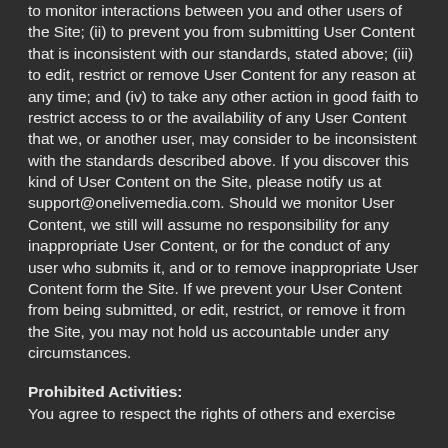to monitor interactions between you and other users of the Site; (ii) to prevent you from submitting User Content that is inconsistent with our standards, stated above; (iii) to edit, restrict or remove User Content for any reason at any time; and (iv) to take any other action in good faith to restrict access to or the availability of any User Content that we, or another user, may consider to be inconsistent with the standards described above. If you discover this kind of User Content on the Site, please notify us at support@onelivemedia.com. Should we monitor User Content, we still will assume no responsibility for any inappropriate User Content, or for the conduct of any user who submits it, and or to remove inappropriate User Content form the Site. If we prevent your User Content from being submitted, or edit, restrict, or remove it from the Site, you may not hold us accountable under any circumstances.
Prohibited Activities:
You agree to respect the rights of others and exercise